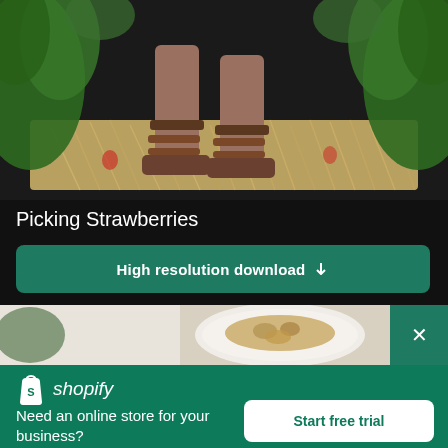[Figure (photo): Person's feet and lower legs wearing brown leather sandals standing on hay/straw among green plants and strawberry field]
Picking Strawberries
High resolution download ↓
[Figure (photo): Partial view of a food image showing a plate with nuts/granola on a white background with green leaf decoration]
[Figure (logo): Shopify logo — shopping bag icon with letter S and italic text 'shopify']
Need an online store for your business?
Start free trial